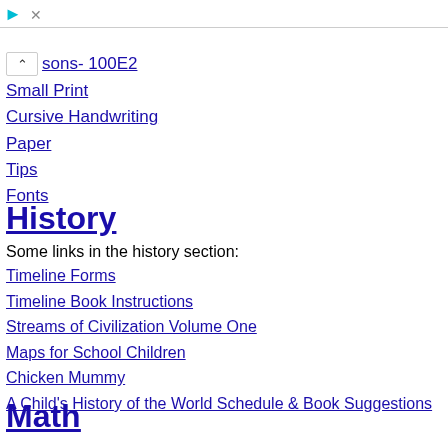sons- 100E2
Small Print
Cursive Handwriting
Paper
Tips
Fonts
History
Some links in the history section:
Timeline Forms
Timeline Book Instructions
Streams of Civilization Volume One
Maps for School Children
Chicken Mummy
A Child's History of the World Schedule & Book Suggestions
Math